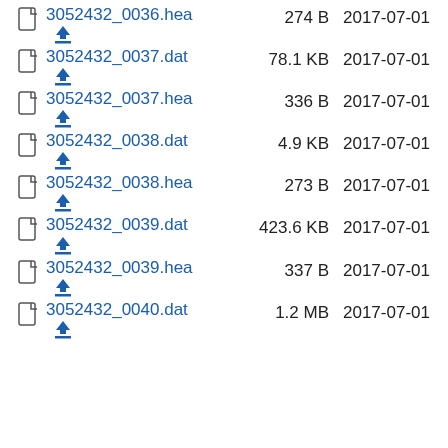3052432_0036.hea  274 B  2017-07-01
3052432_0037.dat  78.1 KB  2017-07-01
3052432_0037.hea  336 B  2017-07-01
3052432_0038.dat  4.9 KB  2017-07-01
3052432_0038.hea  273 B  2017-07-01
3052432_0039.dat  423.6 KB  2017-07-01
3052432_0039.hea  337 B  2017-07-01
3052432_0040.dat  1.2 MB  2017-07-01